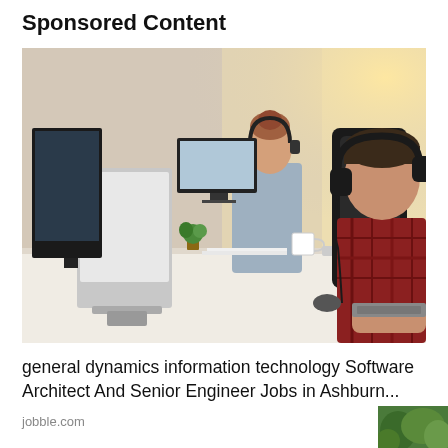Sponsored Content
[Figure (photo): Office scene with two workers at desks with computers and headphones; a man in a red plaid shirt in the foreground and a woman in gray in the background, both working at computers]
general dynamics information technology Software Architect And Senior Engineer Jobs in Ashburn...
jobble.com
[Figure (photo): Small thumbnail image in bottom-right corner showing green vegetation/grass]